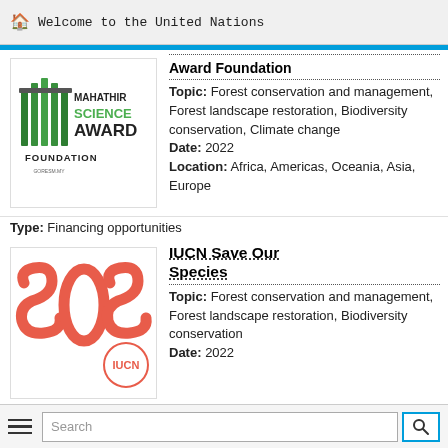Welcome to the United Nations
[Figure (logo): Mahathir Science Award Foundation logo with green vertical bars and text]
Award Foundation
Topic: Forest conservation and management, Forest landscape restoration, Biodiversity conservation, Climate change
Date: 2022
Location: Africa, Americas, Oceania, Asia, Europe
Type: Financing opportunities
[Figure (logo): IUCN Save Our Species logo with red SOS text and IUCN circular mark]
IUCN Save Our Species
Topic: Forest conservation and management, Forest landscape restoration, Biodiversity conservation
Date: 2022
Search